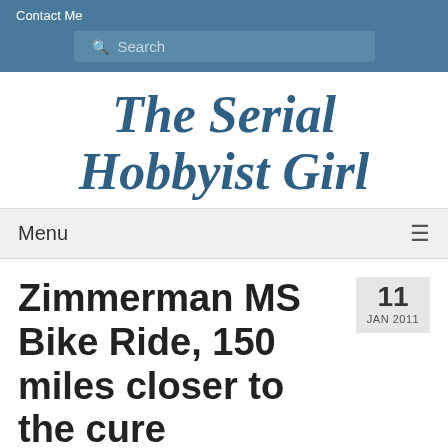Contact Me
Search
The Serial Hobbyist Girl
Menu
Zimmerman MS Bike Ride, 150 miles closer to the cure
11 JAN 2011
by The Serial Hobbyist Girl | posted in: Life, Sports and Recreation | 0